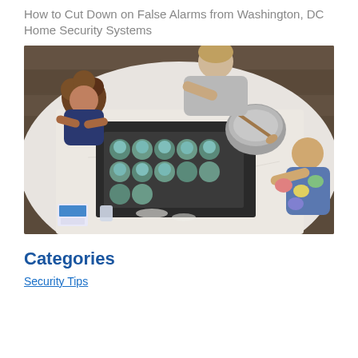How to Cut Down on False Alarms from Washington, DC Home Security Systems
[Figure (photo): Overhead/bird's-eye view of two children and an adult baking cupcakes together at a white marble kitchen counter, with a muffin tin filled with blue cupcakes, mixing bowls, and colorful cups of frosting visible on the counter and a dark baking mat.]
Categories
Security Tips